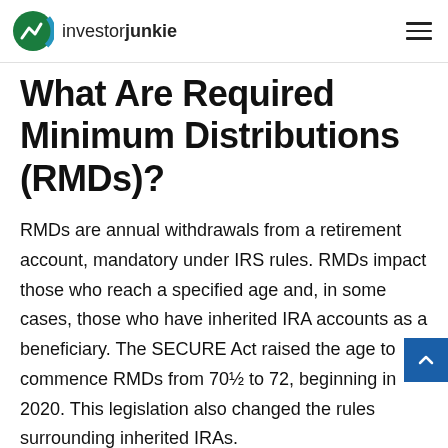investorjunkie
What Are Required Minimum Distributions (RMDs)?
RMDs are annual withdrawals from a retirement account, mandatory under IRS rules. RMDs impact those who reach a specified age and, in some cases, those who have inherited IRA accounts as a beneficiary. The SECURE Act raised the age to commence RMDs from 70½ to 72, beginning in 2020. This legislation also changed the rules surrounding inherited IRAs.